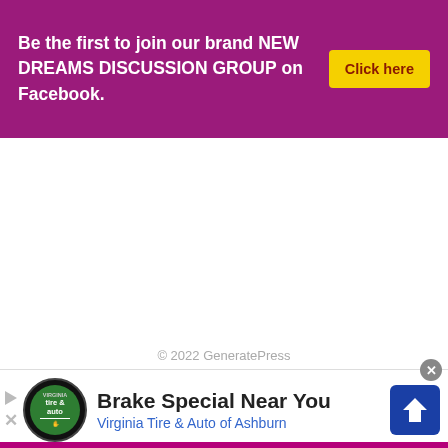Be the first to join our brand NEW DREAMS DISCUSSION GROUP on Facebook. Click here
© 2022 GeneratePress
[Figure (infographic): Advertisement banner: tire & auto logo circle, text 'Brake Special Near You' and 'Virginia Tire & Auto of Ashburn', blue arrow road sign icon, close button, play/skip icons on left]